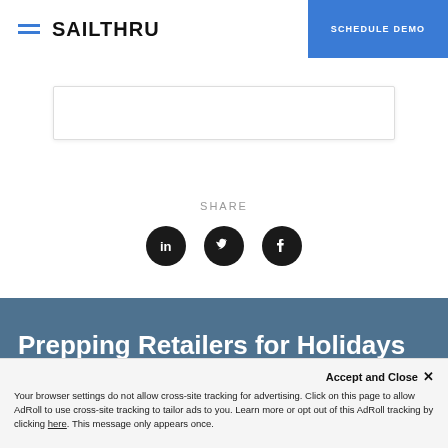SAILTHRU | SCHEDULE DEMO
SHARE
[Figure (infographic): Three social media share buttons: LinkedIn, Twitter, Facebook as dark circular icons]
Prepping Retailers for Holidays 2022
Accept and Close ✕
Your browser settings do not allow cross-site tracking for advertising. Click on this page to allow AdRoll to use cross-site tracking to tailor ads to you. Learn more or opt out of this AdRoll tracking by clicking here. This message only appears once.